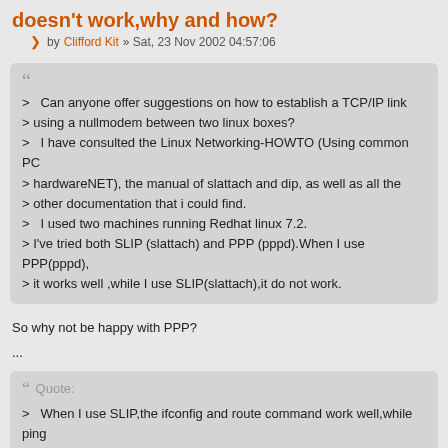doesn't work,why and how?
by Clifford Kit » Sat, 23 Nov 2002 04:57:06
>   Can anyone offer suggestions on how to establish a TCP/IP link
> using a nullmodem between two linux boxes?
>   I have consulted the Linux Networking-HOWTO (Using common PC
> hardwareNET), the manual of slattach and dip, as well as all the
> other documentation that i could find.
>   I used two machines running Redhat linux 7.2.
> I've tried both SLIP (slattach) and PPP (pppd).When I use PPP(pppd),
> it works well ,while I use SLIP(slattach),it do not work.
So why not be happy with PPP?
...
Quote:
>   When I use SLIP,the ifconfig and route command work well,while  ping
> doesnot work well!!
Does not work well meaning that it doesn't work period?  Or that it works half the time, or what?